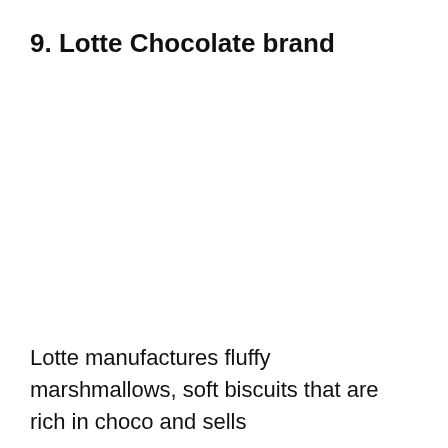9. Lotte Chocolate brand
Lotte manufactures fluffy marshmallows, soft biscuits that are rich in choco and sells